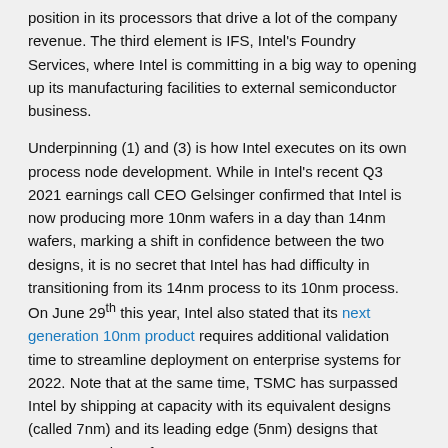position in its processors that drive a lot of the company revenue. The third element is IFS, Intel's Foundry Services, where Intel is committing in a big way to opening up its manufacturing facilities to external semiconductor business.
Underpinning (1) and (3) is how Intel executes on its own process node development. While in Intel's recent Q3 2021 earnings call CEO Gelsinger confirmed that Intel is now producing more 10nm wafers in a day than 14nm wafers, marking a shift in confidence between the two designs, it is no secret that Intel has had difficulty in transitioning from its 14nm process to its 10nm process. On June 29th this year, Intel also stated that its next generation 10nm product requires additional validation time to streamline deployment on enterprise systems for 2022. Note that at the same time, TSMC has surpassed Intel by shipping at capacity with its equivalent designs (called 7nm) and its leading edge (5nm) designs that surpass Intel's performance.
[Figure (photo): Photo of a man with glasses, partially visible from the shoulders up, against a colorful blurred background with teal, blue, purple and green hues.]